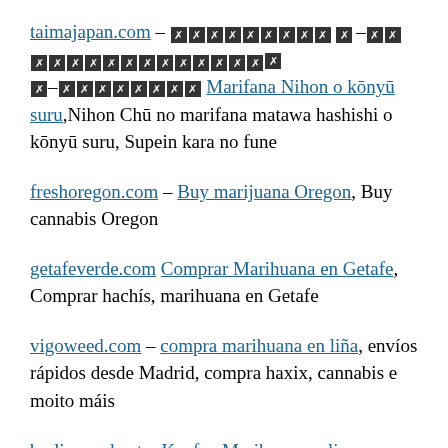taimajapan.com – [redacted text] Marifana Nihon o kōnyū suru,Nihon Chū no marifana matawa hashishi o kōnyū suru, Supein kara no fune
freshoregon.com – Buy marijuana Oregon, Buy cannabis Oregon
getafeverde.com Comprar Marihuana en Getafe, Comprar hachís, marihuana en Getafe
vigoweed.com – compra marihuana en liña, envíos rápidos desde Madrid, compra haxix, cannabis e moito máis
berlinweed.net – Kaufen Marihuana online,